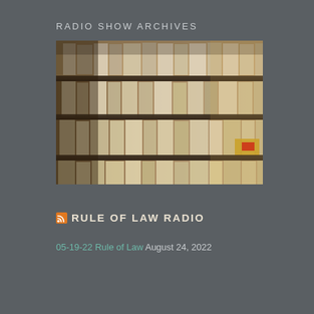RADIO SHOW ARCHIVES
[Figure (photo): Rows of archival boxes and binders stacked on shelves in a warm-toned archive room, photographed at an angle.]
RULE OF LAW RADIO
05-19-22 Rule of Law August 24, 2022